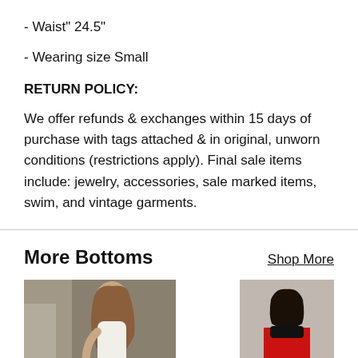- Waist" 24.5"
- Wearing size Small
RETURN POLICY:
We offer refunds & exchanges within 15 days of purchase with tags attached & in original, unworn conditions (restrictions apply). Final sale items include: jewelry, accessories, sale marked items, swim, and vintage garments.
More Bottoms
Shop More
[Figure (photo): Woman with long brown hair wearing a white outfit, photographed from the side/back against a blurred background.]
[Figure (photo): Partial view of a woman in a red outfit with dark hair.]